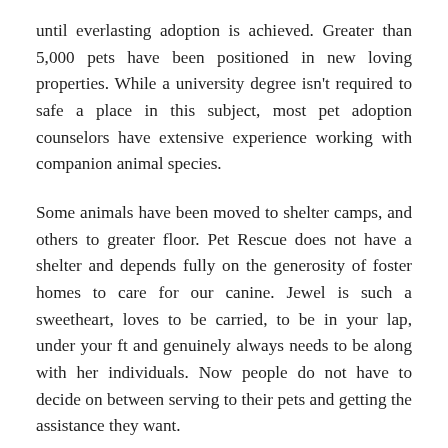until everlasting adoption is achieved. Greater than 5,000 pets have been positioned in new loving properties. While a university degree isn't required to safe a place in this subject, most pet adoption counselors have extensive experience working with companion animal species.
Some animals have been moved to shelter camps, and others to greater floor. Pet Rescue does not have a shelter and depends fully on the generosity of foster homes to care for our canine. Jewel is such a sweetheart, loves to be carried, to be in your lap, under your ft and genuinely always needs to be along with her individuals. Now people do not have to decide on between serving to their pets and getting the assistance they want.